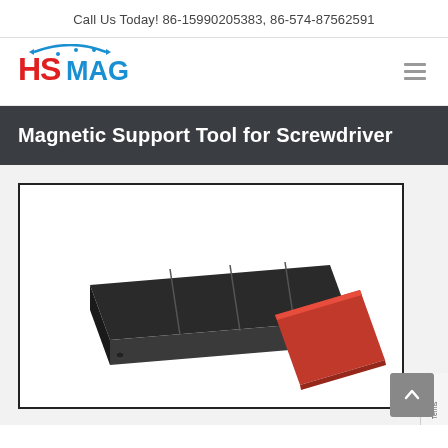Call Us Today! 86-15990205383, 86-574-87562591
[Figure (logo): HSMAG logo with red H, blue arc and arrows, blue MAG text]
Magnetic Support Tool for Screwdriver
[Figure (photo): Product photo of a black magnetic support tool tray with red magnetic insert for screwdrivers, shown on white background with black border frame]